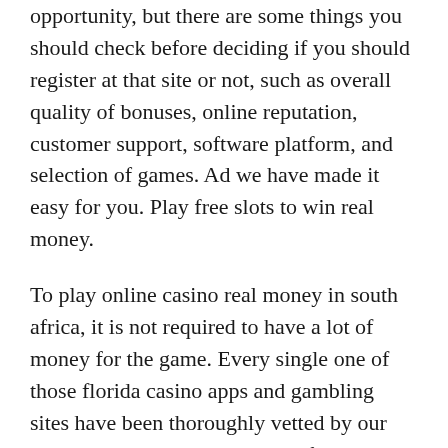opportunity, but there are some things you should check before deciding if you should register at that site or not, such as overall quality of bonuses, online reputation, customer support, software platform, and selection of games. Ad we have made it easy for you. Play free slots to win real money.
To play online casino real money in south africa, it is not required to have a lot of money for the game. Every single one of those florida casino apps and gambling sites have been thoroughly vetted by our experts to ensure quality and safety. As long as you play free slots within an online casino, the wins from the free spins you get will be registered on your account.
Therefore, it is better to indicate only real information in any online casino real money. For example, if you are casino casino offering entertainment and more data but